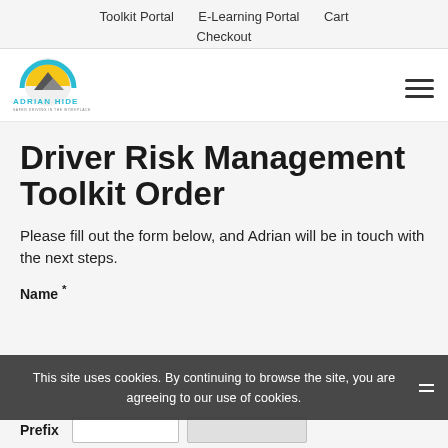Toolkit Portal   E-Learning Portal   Cart   Checkout
[Figure (logo): Adrian Hide logo — circular sunrise icon in teal and yellow with mountain silhouette, text ADRIAN HIDE in teal, tagline in small text below]
Driver Risk Management Toolkit Order
Please fill out the form below, and Adrian will be in touch with the next steps.
Name *
This site uses cookies. By continuing to browse the site, you are agreeing to our use of cookies.
Prefix